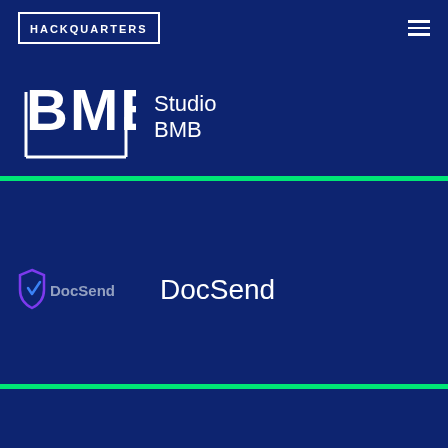[Figure (logo): Hackquarters logo in white text inside a rectangular border]
[Figure (logo): BMB Studio BMB logo: large white BMB text with bracket shapes on left, and 'Studio BMB' text on right]
[Figure (logo): DocSend logo: purple/blue shield icon with 'DocSend' text, displayed at left, followed by larger white 'DocSend' text label]